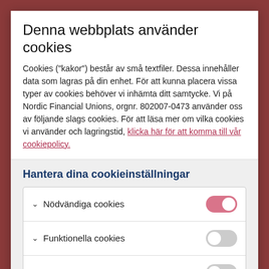Denna webbplats använder cookies
Cookies ("kakor") består av små textfiler. Dessa innehåller data som lagras på din enhet. För att kunna placera vissa typer av cookies behöver vi inhämta ditt samtycke. Vi på Nordic Financial Unions, orgnr. 802007-0473 använder oss av följande slags cookies. För att läsa mer om vilka cookies vi använder och lagringstid, klicka här för att komma till vår cookiepolicy.
Hantera dina cookieinställningar
Nödvändiga cookies
Funktionella cookies
Cookies för statistik
Bekräfta val
Acceptera alla